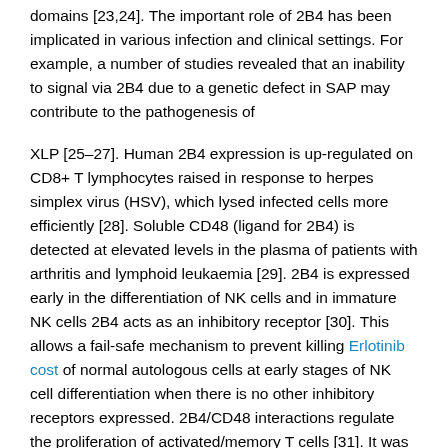domains [23,24]. The important role of 2B4 has been implicated in various infection and clinical settings. For example, a number of studies revealed that an inability to signal via 2B4 due to a genetic defect in SAP may contribute to the pathogenesis of
XLP [25–27]. Human 2B4 expression is up-regulated on CD8+ T lymphocytes raised in response to herpes simplex virus (HSV), which lysed infected cells more efficiently [28]. Soluble CD48 (ligand for 2B4) is detected at elevated levels in the plasma of patients with arthritis and lymphoid leukaemia [29]. 2B4 is expressed early in the differentiation of NK cells and in immature NK cells 2B4 acts as an inhibitory receptor [30]. This allows a fail-safe mechanism to prevent killing Erlotinib cost of normal autologous cells at early stages of NK cell differentiation when there is no other inhibitory receptors expressed. 2B4/CD48 interactions regulate the proliferation of activated/memory T cells [31]. It was shown that 2B4/CD48 interactions provide a co-stimulatory signal among T cells themselves [32]. Our studies indicated that 2B4...